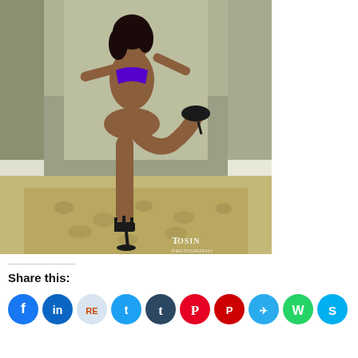[Figure (photo): A woman in a purple bikini and black high heels posing in a hotel hallway, leaning against the wall with one leg raised. Watermark reads 'TOSIN PHOTOGRAPHY' in the lower right corner.]
Share this:
[Figure (infographic): Row of social media share buttons: Facebook (blue), LinkedIn (blue), Reddit (light blue), Twitter (cyan), Tumblr (dark navy), Pinterest (red), Pocket (dark red), Telegram (blue), WhatsApp (green), Skype (blue)]